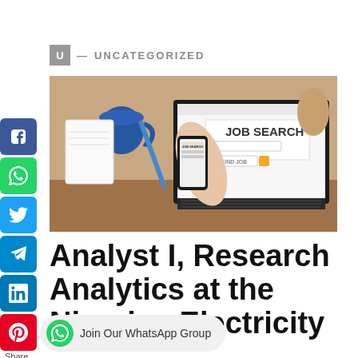U — UNCATEGORIZED
[Figure (photo): Person holding a smartphone with job search app open, laptop in background showing JOB SEARCH website with FIND JOB button]
Analyst I, Research Analytics at the Nigerian Electricity
Join Our WhatsApp Group